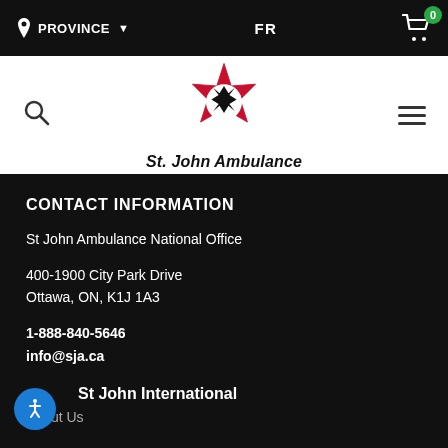PROVINCE  FR  0
[Figure (logo): St. John Ambulance logo with red maple leaf and white Maltese cross, with text 'St. John Ambulance' below]
CONTACT INFORMATION
St John Ambulance National Office
400-1900 City Park Drive
Ottawa, ON, K1J 1A3
1-888-840-5646
info@sja.ca
St John International
About Us